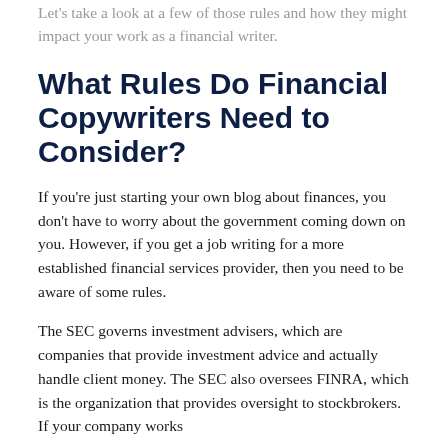Let's take a look at a few of those rules and how they might impact your work as a financial writer.
What Rules Do Financial Copywriters Need to Consider?
If you're just starting your own blog about finances, you don't have to worry about the government coming down on you. However, if you get a job writing for a more established financial services provider, then you need to be aware of some rules.
The SEC governs investment advisers, which are companies that provide investment advice and actually handle client money. The SEC also oversees FINRA, which is the organization that provides oversight to stockbrokers. If your company works...